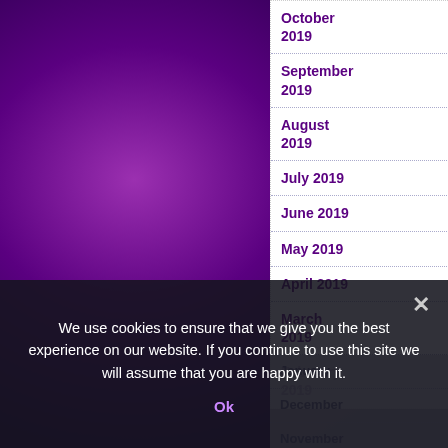[Figure (screenshot): Purple radial gradient background filling the page]
October 2019
September 2019
August 2019
July 2019
June 2019
May 2019
April 2019
March 2019
February 2019
January
December
November 2018
We use cookies to ensure that we give you the best experience on our website. If you continue to use this site we will assume that you are happy with it.
Ok